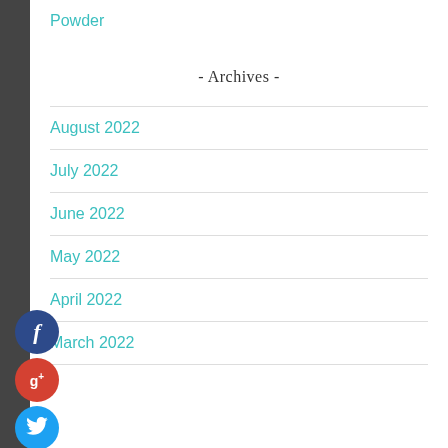Powder
- Archives -
August 2022
July 2022
June 2022
May 2022
April 2022
March 2022